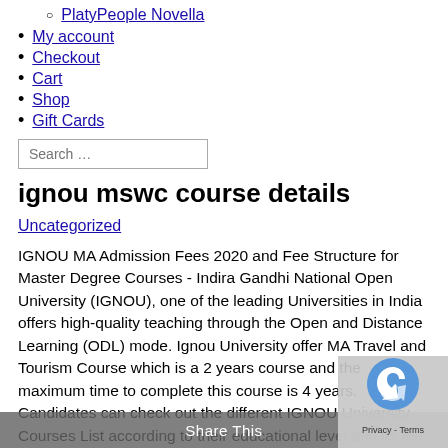PlatyPeople Novella
My account
Checkout
Cart
Shop
Gift Cards
ignou mswc course details
Uncategorized
IGNOU MA Admission Fees 2020 and Fee Structure for Master Degree Courses - Indira Gandhi National Open University (IGNOU), one of the leading Universities in India offers high-quality teaching through the Open and Distance Learning (ODL) mode. Ignou University offer MA Travel and Tourism Course which is a 2 years course and the maximum time to complete this course is 4 years. Candidates can check out the different IGNOU University Courses List according to their educational level and its fee structure through the below provide tables: IGNOU University Courses List of 01 Online Programmes. Total Course Fee (after July 2013 batch) Rs. IGNOU university offers some 226